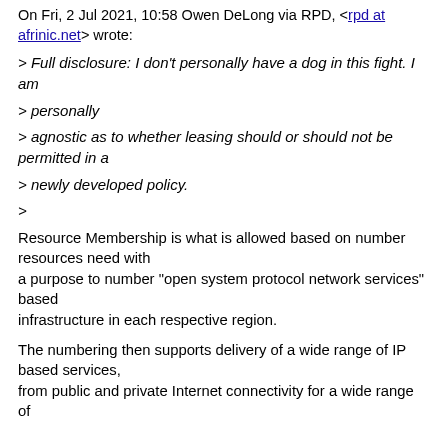On Fri, 2 Jul 2021, 10:58 Owen DeLong via RPD, <rpd at afrinic.net> wrote:
> Full disclosure: I don't personally have a dog in this fight. I am
> personally
> agnostic as to whether leasing should or should not be permitted in a
> newly developed policy.
>
Resource Membership is what is allowed based on number resources need with a purpose to number "open system protocol network services" based infrastructure in each respective region.
The numbering then supports delivery of a wide range of IP based services, from public and private Internet connectivity for a wide range of